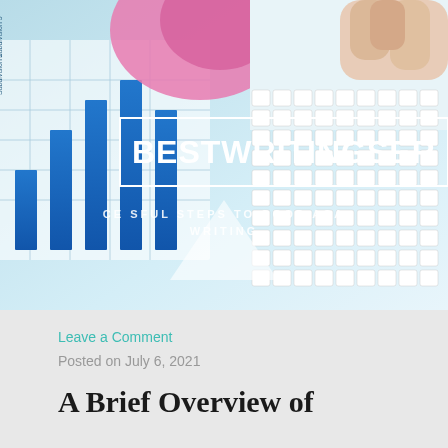[Figure (photo): Hero banner image showing financial charts/graphs on paper and a white keyboard on a light blue background, with a logo box overlay reading BESTWRITINGSER... and subtitle text about successful steps to good academic writing]
Leave a Comment
Posted on July 6, 2021
A Brief Overview of